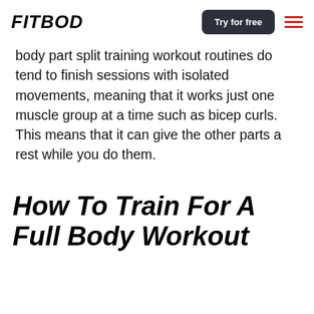FITBOD | Try for free
body part split training workout routines do tend to finish sessions with isolated movements, meaning that it works just one muscle group at a time such as bicep curls. This means that it can give the other parts a rest while you do them.
How To Train For A Full Body Workout